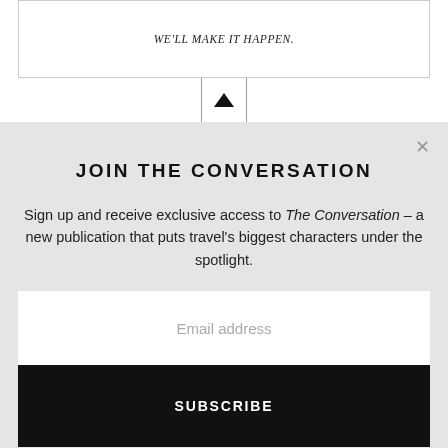WE'LL MAKE IT HAPPEN.
[Figure (other): Up arrow navigation button in a square border]
JOIN THE CONVERSATION
Sign up and receive exclusive access to The Conversation – a new publication that puts travel's biggest characters under the spotlight.
Email address
SUBSCRIBE